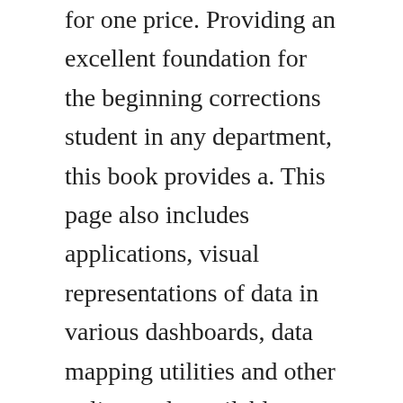for one price. Providing an excellent foundation for the beginning corrections student in any department, this book provides a. This page also includes applications, visual representations of data in various dashboards, data mapping utilities and other online tools available to the corrections community. Your motto is to go for the least and our policy is to reduce costs as low as possible like solution manual for american corrections, 11th edition. Isbn 9780495807483 american corrections 9th edition direct. Now fully updated to reflect dsm5, its detailed descriptions and